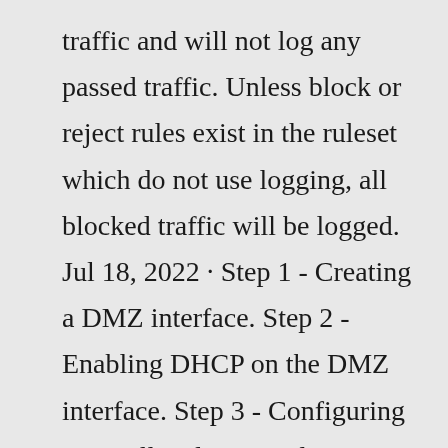traffic and will not log any passed traffic. Unless block or reject rules exist in the ruleset which do not use logging, all blocked traffic will be logged. Jul 18, 2022 · Step 1 - Creating a DMZ interface. Step 2 - Enabling DHCP on the DMZ interface. Step 3 - Configuring Firewall Rules. Conclusion pfSense DMZ. ❰ This Tutorial has some related Articles! ❰ The Complete pfSense Fundamentals Bootcamp. ❰ Install pfSense